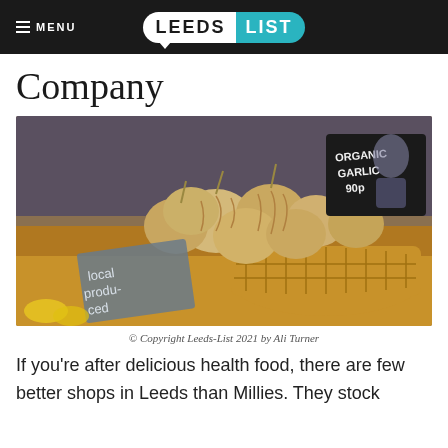≡ MENU  LEEDS LIST
Company
[Figure (photo): Wicker basket filled with organic garlic heads displayed on a market stall. A chalkboard sign in the background reads 'ORGANIC GARLIC 90p' and a smaller sign in the foreground reads 'local produced'.]
© Copyright Leeds-List 2021 by Ali Turner
If you're after delicious health food, there are few better shops in Leeds than Millies. They stock